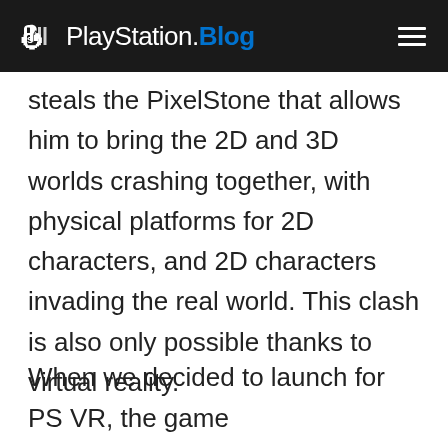PlayStation.Blog
steals the PixelStone that allows him to bring the 2D and 3D worlds crashing together, with physical platforms for 2D characters, and 2D characters invading the real world. This clash is also only possible thanks to virtual reality.
When we decided to launch for PS VR, the game